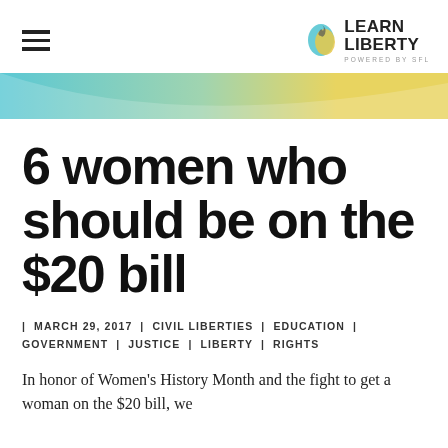[Figure (logo): Learn Liberty logo with flame icon and 'POWERED BY SFL' tagline]
[Figure (illustration): Horizontal banner with gradient from teal/blue on the left to yellow/gold on the right]
6 women who should be on the $20 bill
| MARCH 29, 2017 | CIVIL LIBERTIES | EDUCATION | GOVERNMENT | JUSTICE | LIBERTY | RIGHTS
In honor of Women's History Month and the fight to get a woman on the $20 bill, we